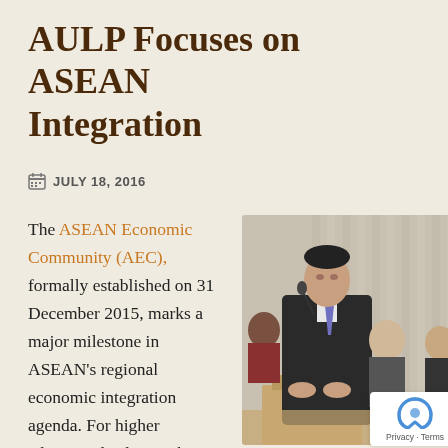AULP Focuses on ASEAN Integration
JULY 18, 2016
The ASEAN Economic Community (AEC), formally established on 31 December 2015, marks a major milestone in ASEAN's regional economic integration agenda. For higher education leaders in the region, it's an opportunity to
[Figure (photo): A man in a dark suit speaking at a podium with a microphone, with audience members visible in the background in a conference setting.]